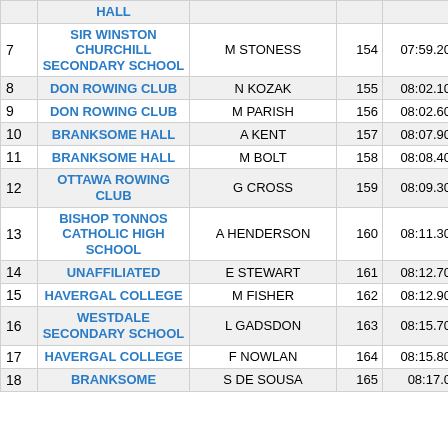| # | Club | Name | No. | Time | Diff |
| --- | --- | --- | --- | --- | --- |
|  | HALL |  |  |  |  |
| 7 | SIR WINSTON CHURCHILL SECONDARY SCHOOL | M STONESS | 154 | 07:59.20 | 00:00.0 |
| 8 | DON ROWING CLUB | N KOZAK | 155 | 08:02.10 | 00:00.0 |
| 9 | DON ROWING CLUB | M PARISH | 156 | 08:02.60 | 00:00.0 |
| 10 | BRANKSOME HALL | A KENT | 157 | 08:07.90 | 00:00.0 |
| 11 | BRANKSOME HALL | M BOLT | 158 | 08:08.40 | 00:00.0 |
| 12 | OTTAWA ROWING CLUB | G CROSS | 159 | 08:09.30 | 00:00.0 |
| 13 | BISHOP TONNOS CATHOLIC HIGH SCHOOL | A HENDERSON | 160 | 08:11.30 | 00:00.0 |
| 14 | UNAFFILIATED | E STEWART | 161 | 08:12.70 | 00:00.0 |
| 15 | HAVERGAL COLLEGE | M FISHER | 162 | 08:12.90 | 00:00.0 |
| 16 | WESTDALE SECONDARY SCHOOL | L GADSDON | 163 | 08:15.70 | 00:00.0 |
| 17 | HAVERGAL COLLEGE | F NOWLAN | 164 | 08:15.80 | 00:00.0 |
| 18 | BRANKSOME | S DE SOUSA | 165 | 08:17.0 | 00:00.0 |